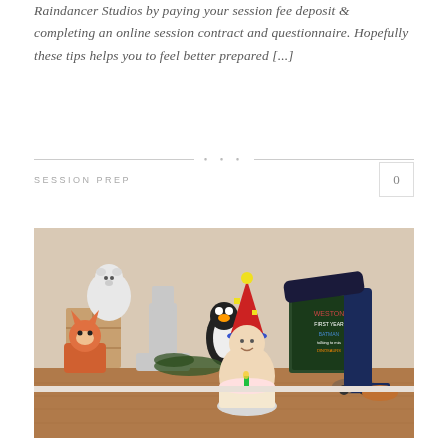Raindancer Studios by paying your session fee deposit & completing an online session contract and questionnaire. Hopefully these tips helps you to feel better prepared [...]
SESSION PREP
[Figure (photo): A baby sitting on a wooden floor wearing a red and blue party hat, with a small cake in front. A woman in dark jeans is leaning over to place the hat. Surrounding the baby are stuffed animals, a number 1 decoration, greenery, and birthday props.]